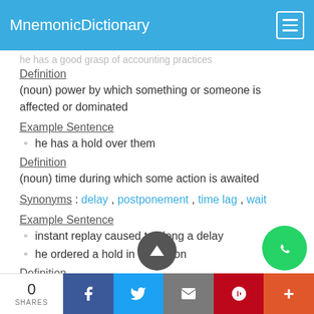MnemonicDictionary
he has a good grasp of accounting practices
Definition
(noun) power by which something or someone is affected or dominated
Example Sentence
he has a hold over them
Definition
(noun) time during which some action is awaited
Synonyms : delay , postponement , time lag , wait
Example Sentence
instant replay caused too long a delay
he ordered a hold in the action
Definition
(noun) a state of being confined (usually for a sho
Synonyms : custody , detainment , detention